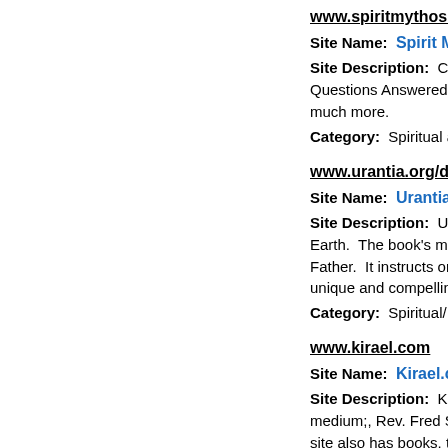www.spiritmythos.org
Site Name:  Spirit Mytho...
Site Description:  Chan... Questions Answered, Ki... much more.
Category:  Spiritual and ...
www.urantia.org/detail....
Site Name:  Urantia Fou...
Site Description:  Urant... Earth.  The book's mess... Father.  It instructs on the... unique and compelling p...
Category:  Spiritual/ Insp...
www.kirael.com
Site Name:  Kirael.com
Site Description:  Kirae... medium;, Rev. Fred Ster... site also has books, tape... archived.  Other menus i...